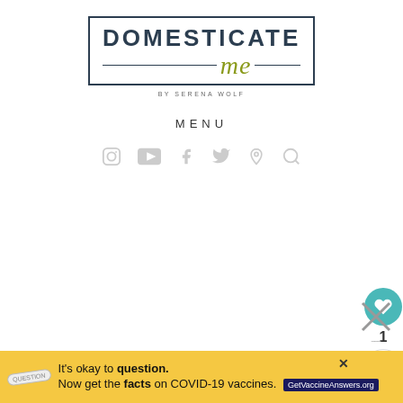[Figure (logo): Domesticate Me by Serena Wolf logo with serif text in a rectangular border, 'me' in olive/yellow-green script]
MENU
[Figure (illustration): Social media icons row: Instagram, YouTube, Facebook, Twitter, Pinterest, Search — in light gray]
The Dude Diet: Get On Board
[Figure (screenshot): What's Next panel with book cover thumbnail and text: WHAT'S NEXT → The Dude Diet - Easy,...]
It's okay to question. Now get the facts on COVID-19 vaccines. GetVaccineAnswers.org